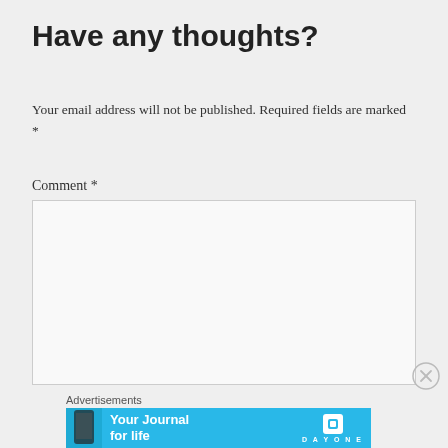Have any thoughts?
Your email address will not be published. Required fields are marked *
Comment *
[Figure (screenshot): Empty comment textarea input box with light gray background and thin border]
[Figure (screenshot): Close/dismiss button (X in circle) on right side]
Advertisements
[Figure (screenshot): Advertisement banner for Day One journal app with blue background showing 'Your Journal for life' text and Day One logo]